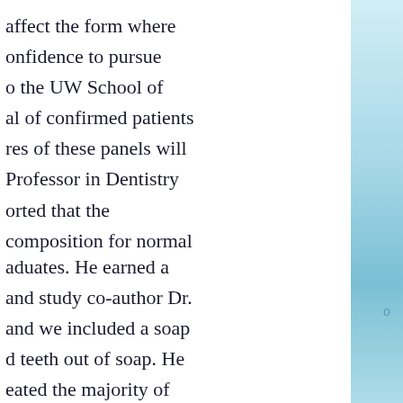affect the form where confidence to pursue o the UW School of al of confirmed patients res of these panels will Professor in Dentistry orted that the composition for normal
aduates. He earned a and study co-author Dr. and we included a soap d teeth out of soap. He eated the majority of FDA announced this o ate at the 1964 Tokyo e that helps the mouth